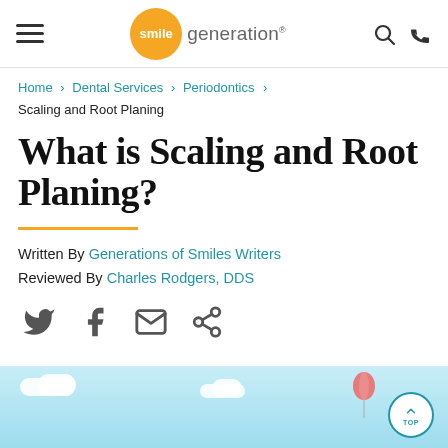smile generation — navigation header with hamburger menu, logo, search and phone icons
Home > Dental Services > Periodontics > Scaling and Root Planing
What is Scaling and Root Planing?
Written By Generations of Smiles Writers
Reviewed By Charles Rodgers, DDS
[Figure (infographic): Light blue illustrated banner showing dental/health themed illustration at the bottom of the page with a scroll-to-top button labeled TOP]